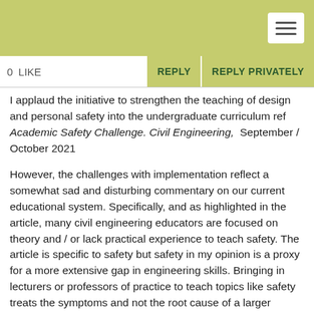[Figure (other): Green header bar with hamburger menu icon (three horizontal lines) in white box at top right]
0   LIKE   REPLY   REPLY PRIVATELY
I applaud the initiative to strengthen the teaching of design and personal safety into the undergraduate curriculum ref Academic Safety Challenge. Civil Engineering,  September / October 2021
However, the challenges with implementation reflect a somewhat sad and disturbing commentary on our current educational system. Specifically, and as highlighted in the article, many civil engineering educators are focused on theory and / or lack practical experience to teach safety. The article is specific to safety but safety in my opinion is a proxy for a more extensive gap in engineering skills. Bringing in lecturers or professors of practice to teach topics like safety treats the symptoms and not the root cause of a larger problem in my view. Getting the educational system to get the right balance back between educators with theory and practice is not going to easy but we need to try.
How do others see the problem and solutions? Did others see the irony in the safety article?